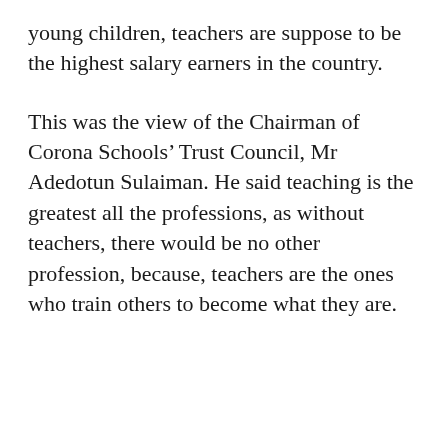young children, teachers are suppose to be the highest salary earners in the country.
This was the view of the Chairman of Corona Schools’ Trust Council, Mr Adedotun Sulaiman. He said teaching is the greatest all the professions, as without teachers, there would be no other profession, because, teachers are the ones who train others to become what they are.